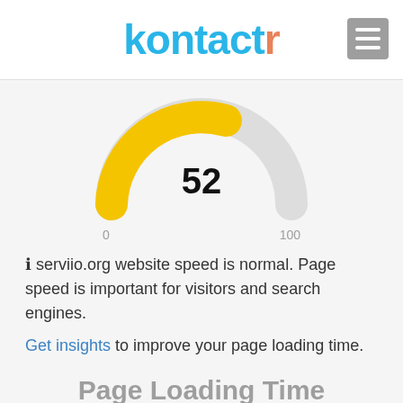kontactr
[Figure (donut-chart): Semi-circular gauge showing score of 52 out of 100. Left portion (approximately 52%) is filled in yellow/gold color, right portion is light gray. Center displays the number 52 in bold.]
ℹ serviio.org website speed is normal. Page speed is important for visitors and search engines.
Get insights to improve your page loading time.
Page Loading Time